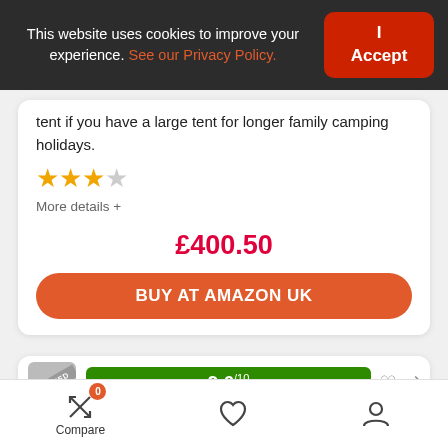This website uses cookies to improve your experience. See our Privacy Policy.
tent if you have a large tent for longer family camping holidays.
[Figure (other): Star rating: 3.5 out of 5 stars (3 filled orange stars, 1 half/empty star)]
More details +
£400.50
BUY AT AMAZON UK
[Figure (other): Partially visible product card with a score badge showing 9.6/10 in green, heart icon, and compare icon]
Compare